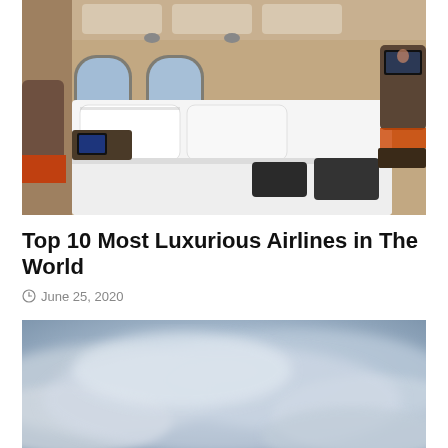[Figure (photo): Luxury airline first-class cabin interior showing a flat bed with white bedding, dark folded pyjamas, illuminated windows, leather seats with orange accents, and overhead reading lights in beige/cream tones]
Top 10 Most Luxurious Airlines in The World
June 25, 2020
[Figure (photo): Aerial view of clouds from above, blue-grey sky with soft diffused cloud formations]